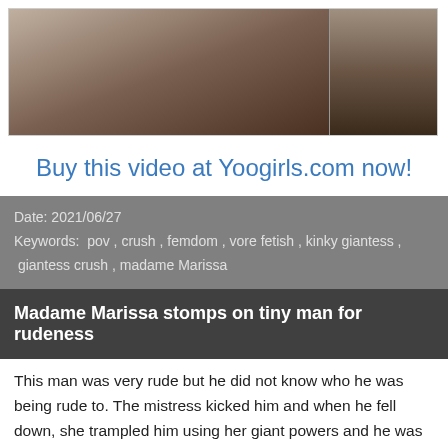[Figure (photo): Photo of a person with tattooed arms at a table with small objects including a miniature house model and shoes visible in background]
Buy this video at Yoogirls.com now!
Date: 2021/06/27
Keywords: pov , crush , femdom , vore fetish , kinky giantess , giantess crush , madame Marissa
Madame Marissa stomps on tiny man for rudeness
This man was very rude but he did not know who he was being rude to. The mistress kicked him and when he fell down, she trampled him using her giant powers and he was transformed into a tiny man. She did not stomping and she made it even more painful for him. He regretted what happened to him and he wished he had done things the right way and not been rude to her.